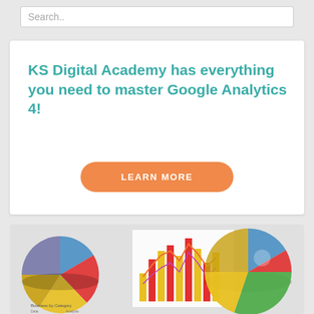Search..
KS Digital Academy has everything you need to master Google Analytics 4!
LEARN MORE
[Figure (illustration): A collage of business charts including pie charts and bar charts with line graphs, representing analytics data dashboards.]